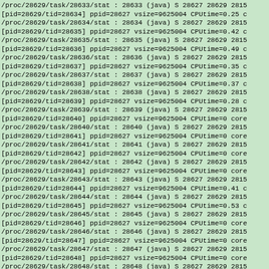/proc/28629/task/28633/stat : 28633 (java) S 28627 28629 2815
[pid=28629/tid=28634] ppid=28627 vsize=9625004 CPUtime=0.25 c
/proc/28629/task/28634/stat : 28634 (java) S 28627 28629 2815
[pid=28629/tid=28635] ppid=28627 vsize=9625004 CPUtime=0.42 c
/proc/28629/task/28635/stat : 28635 (java) S 28627 28629 2815
[pid=28629/tid=28636] ppid=28627 vsize=9625004 CPUtime=0.49 c
/proc/28629/task/28636/stat : 28636 (java) S 28627 28629 2815
[pid=28629/tid=28637] ppid=28627 vsize=9625004 CPUtime=0.35 c
/proc/28629/task/28637/stat : 28637 (java) S 28627 28629 2815
[pid=28629/tid=28638] ppid=28627 vsize=9625004 CPUtime=0.37 c
/proc/28629/task/28638/stat : 28638 (java) S 28627 28629 2815
[pid=28629/tid=28639] ppid=28627 vsize=9625004 CPUtime=0.28 c
/proc/28629/task/28639/stat : 28639 (java) S 28627 28629 2815
[pid=28629/tid=28640] ppid=28627 vsize=9625004 CPUtime=0 core
/proc/28629/task/28640/stat : 28640 (java) S 28627 28629 2815
[pid=28629/tid=28641] ppid=28627 vsize=9625004 CPUtime=0 core
/proc/28629/task/28641/stat : 28641 (java) S 28627 28629 2815
[pid=28629/tid=28642] ppid=28627 vsize=9625004 CPUtime=0 core
/proc/28629/task/28642/stat : 28642 (java) S 28627 28629 2815
[pid=28629/tid=28643] ppid=28627 vsize=9625004 CPUtime=0 core
/proc/28629/task/28643/stat : 28643 (java) S 28627 28629 2815
[pid=28629/tid=28644] ppid=28627 vsize=9625004 CPUtime=0.41 c
/proc/28629/task/28644/stat : 28644 (java) S 28627 28629 2815
[pid=28629/tid=28645] ppid=28627 vsize=9625004 CPUtime=0.53 c
/proc/28629/task/28645/stat : 28645 (java) S 28627 28629 2815
[pid=28629/tid=28646] ppid=28627 vsize=9625004 CPUtime=0 core
/proc/28629/task/28646/stat : 28646 (java) S 28627 28629 2815
[pid=28629/tid=28647] ppid=28627 vsize=9625004 CPUtime=0 core
/proc/28629/task/28647/stat : 28647 (java) S 28627 28629 2815
[pid=28629/tid=28648] ppid=28627 vsize=9625004 CPUtime=0 core
/proc/28629/task/28648/stat : 28648 (java) S 28627 28629 2815
Current children cumulated CPU time (s) 14.39
Current children cumulated vsize (KiB) 9625004